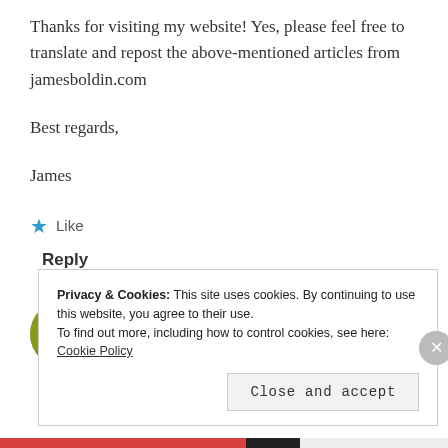Thanks for visiting my website! Yes, please feel free to translate and repost the above-mentioned articles from jamesboldin.com
Best regards,
James
★ Like
Reply
Basil Kritzer
MARCH 20, 2016 AT 7:51 PM
Privacy & Cookies: This site uses cookies. By continuing to use this website, you agree to their use.
To find out more, including how to control cookies, see here: Cookie Policy
Close and accept